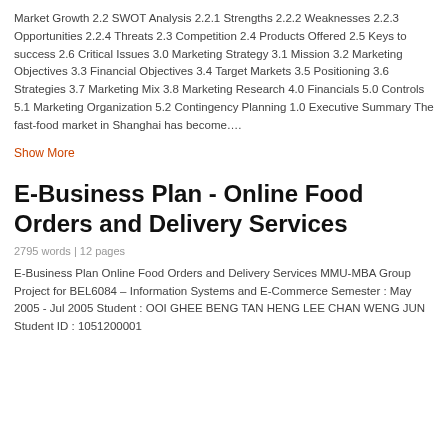Market Growth 2.2 SWOT Analysis 2.2.1 Strengths 2.2.2 Weaknesses 2.2.3 Opportunities 2.2.4 Threats 2.3 Competition 2.4 Products Offered 2.5 Keys to success 2.6 Critical Issues 3.0 Marketing Strategy 3.1 Mission 3.2 Marketing Objectives 3.3 Financial Objectives 3.4 Target Markets 3.5 Positioning 3.6 Strategies 3.7 Marketing Mix 3.8 Marketing Research 4.0 Financials 5.0 Controls 5.1 Marketing Organization 5.2 Contingency Planning 1.0 Executive Summary The fast-food market in Shanghai has become….
Show More
E-Business Plan - Online Food Orders and Delivery Services
2795 words | 12 pages
E-Business Plan Online Food Orders and Delivery Services MMU-MBA Group Project for BEL6084 – Information Systems and E-Commerce Semester : May 2005 - Jul 2005 Student : OOI GHEE BENG TAN HENG LEE CHAN WENG JUN Student ID : 1051200001